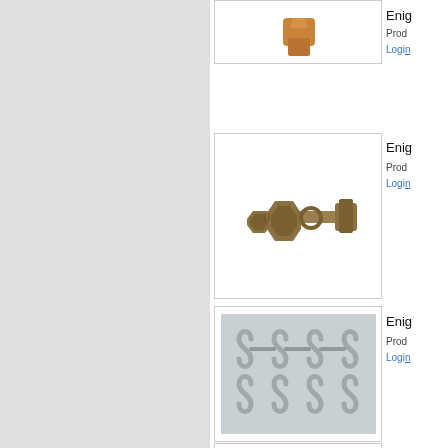[Figure (photo): Partial view of a product image at top, appears to be a copper/bronze fitting or connector, mostly cropped]
Enig
Prod
Login
[Figure (photo): A bronze/brass carriage bolt with two hex nuts assembled on it, shown on white background]
Enig
Prod
Login
[Figure (photo): Multiple S-shaped stainless steel hooks linked together, shown on light blue/grey background]
Enig
Prod
Login
[Figure (photo): Partial view of another product image at bottom, only top portion visible]